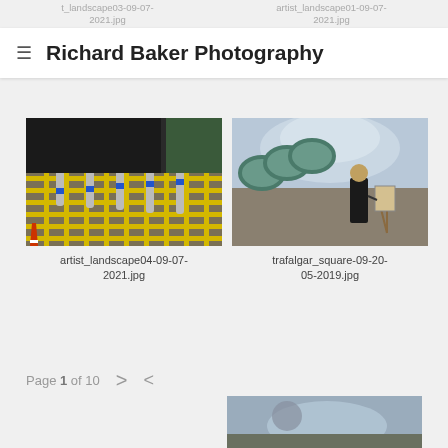t_landscape03-09-07-2021.jpg    artist_landscape01-09-07-2021.jpg
Richard Baker Photography
[Figure (photo): Street scene with yellow grid road markings and blue-banded bollards outside a modern building]
artist_landscape04-09-07-2021.jpg
[Figure (photo): Artist painting at an easel outdoors near a fountain with large chain sculpture]
trafalgar_square-09-20-05-2019.jpg
Page 1 of 10
[Figure (photo): Fountain and statue scene at bottom of page, partially visible]